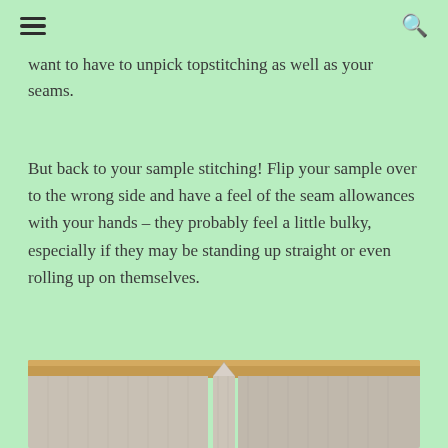[hamburger menu] [search icon]
want to have to unpick topstitching as well as your seams.
But back to your sample stitching! Flip your sample over to the wrong side and have a feel of the seam allowances with your hands – they probably feel a little bulky, especially if they may be standing up straight or even rolling up on themselves.
[Figure (photo): Close-up photo of a fabric seam on a wooden table surface, showing the wrong side of the fabric with seam allowances standing up, demonstrating bulky seam allowances on grey/beige woven fabric.]